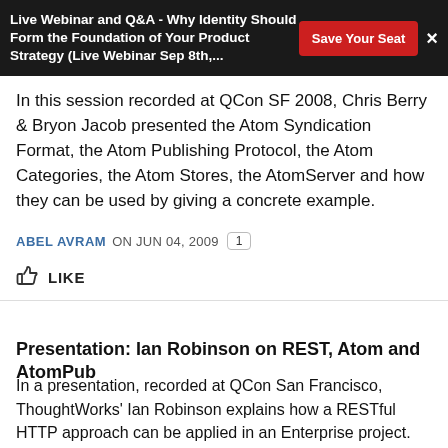Live Webinar and Q&A - Why Identity Should Form the Foundation of Your Product Strategy (Live Webinar Sep 8th,...
In this session recorded at QCon SF 2008, Chris Berry & Bryon Jacob presented the Atom Syndication Format, the Atom Publishing Protocol, the Atom Categories, the Atom Stores, the AtomServer and how they can be used by giving a concrete example.
ABEL AVRAM ON JUN 04, 2009  1
LIKE
Presentation: Ian Robinson on REST, Atom and AtomPub
In a presentation, recorded at QCon San Francisco, ThoughtWorks' Ian Robinson explains how a RESTful HTTP approach can be applied in an Enterprise project. He makes use of many of the techniques that make HTTP a powerful protocol, including caching, hypermedia, and uses standard formats such as Atom Syndication for event notification.